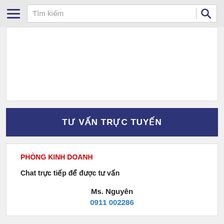Tìm kiếm
[Figure (screenshot): White content area placeholder box]
TƯ VẤN TRỰC TUYẾN
PHÒNG KINH DOANH
Chat trực tiếp để được tư vấn
Ms. Nguyên
0911 002286